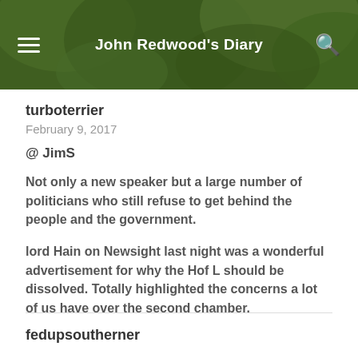John Redwood's Diary
turboterrier
February 9, 2017
@ JimS
Not only a new speaker but a large number of politicians who still refuse to get behind the people and the government.
lord Hain on Newsight last night was a wonderful advertisement for why the Hof L should be dissolved. Totally highlighted the concerns a lot of us have over the second chamber.
fedupsoutherner